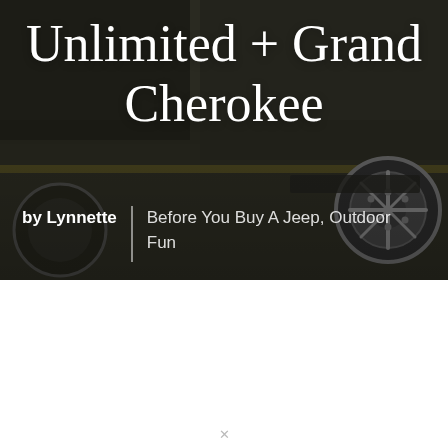[Figure (photo): Dark photo background showing two Jeep vehicles parked on pavement, with rear wheels and body panels visible. Image is partially cropped at the top.]
Unlimited + Grand Cherokee
by Lynnette | Before You Buy A Jeep, Outdoor Fun